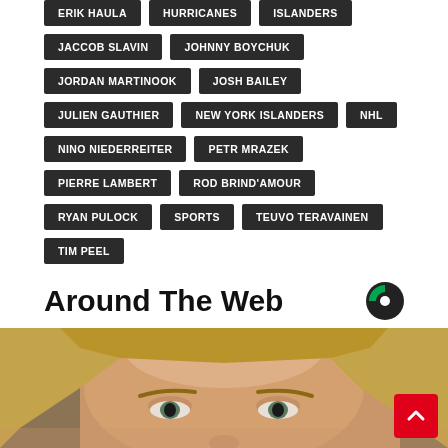ERIK HAULA
HURRICANES
ISLANDERS
JACCOB SLAVIN
JOHNNY BOYCHUK
JORDAN MARTINOOK
JOSH BAILEY
JULIEN GAUTHIER
NEW YORK ISLANDERS
NHL
NINO NIEDERREITER
PETR MRAZEK
PIERRE LAMBERT
ROD BRIND'AMOUR
RYAN PULOCK
SPORTS
TEUVO TERAVAINEN
TIM PEEL
Around The Web
[Figure (photo): Close-up photo of a young blonde woman's face from forehead to just below nose, partially visible]